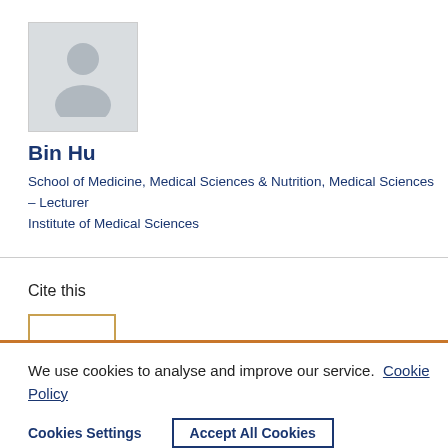[Figure (photo): Generic person silhouette avatar placeholder image in grey]
Bin Hu
School of Medicine, Medical Sciences & Nutrition, Medical Sciences – Lecturer
Institute of Medical Sciences
Cite this
We use cookies to analyse and improve our service. Cookie Policy
Cookies Settings   Accept All Cookies